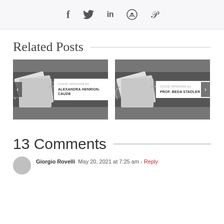[Figure (other): Social share bar with icons: Facebook (f), Twitter (bird), LinkedIn (in), Reddit (alien), Pinterest (p)]
Related Posts
[Figure (other): Related post card: COVID OPINIONS #2 - ALEXANDRA HENRION-CAUDE, with face mask background image and left navigation arrow]
[Figure (other): Related post card: COVID OPINIONS #1 - PROF. BEDA STADLER, with face mask background image and right navigation arrow]
13 Comments
Giorgio Rovelli  May 20, 2021 at 7:25 am - Reply